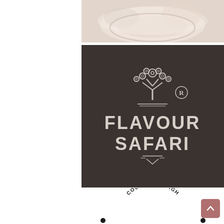[Figure (photo): Top portion of a photograph showing a light-colored cup or bowl with cream/beige tones, partially visible at the top of the page]
[Figure (logo): Flavour Safari logo on dark charcoal/brown background. Decorative tree icon at top with circles for leaves, registered trademark symbol (R) to the right, two horizontal lines beneath icon, large stylized text 'FLAVOUR SAFARI' in white with decorative African-inspired lettering, decorative element below text with triangles and a V-shape]
[Figure (logo): Fine Foods County Armagh logo: black circular arc text reading 'FINE FOODS' on top arc in large bold letters and 'COUNTY ARMAGH' on smaller inner arc, with two bullet dots on left and right sides at bottom, simple circular badge style]